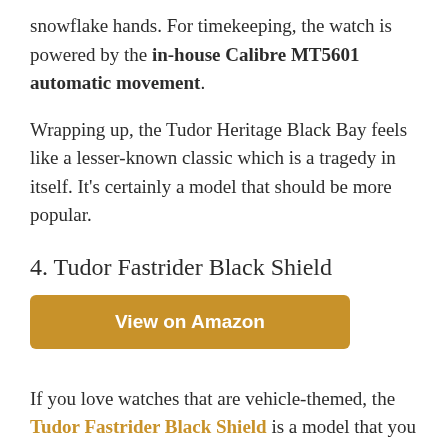snowflake hands. For timekeeping, the watch is powered by the in-house Calibre MT5601 automatic movement.
Wrapping up, the Tudor Heritage Black Bay feels like a lesser-known classic which is a tragedy in itself. It's certainly a model that should be more popular.
4. Tudor Fastrider Black Shield
View on Amazon
If you love watches that are vehicle-themed, the Tudor Fastrider Black Shield is a model that you might just fall in love with.